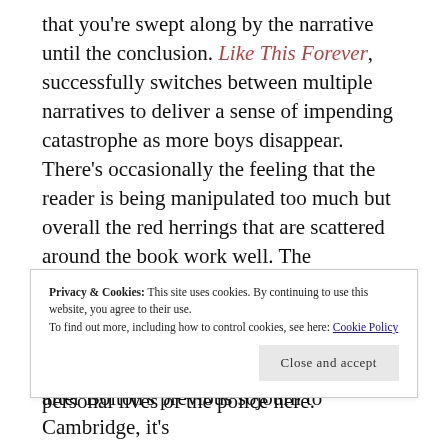that you're swept along by the narrative until the conclusion. Like This Forever, successfully switches between multiple narratives to deliver a sense of impending catastrophe as more boys disappear. There's occasionally the feeling that the reader is being manipulated too much but overall the red herrings that are scattered around the book work well. The characterisation is excellent. Damaged DC Lacey Flint dominates the narrative and her attraction to Mark Joesbury remains a constant theme. We get to see more of the personal lives of the police here.
Privacy & Cookies: This site uses cookies. By continuing to use this website, you agree to their use. To find out more, including how to control cookies, see here: Cookie Policy
after Bolton's previous sojourn to Cambridge, it's